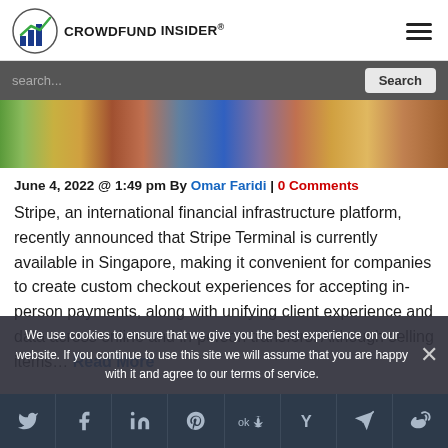CROWDFUND INSIDER
[Figure (photo): Blurred photo of a store interior with people and products, colorful shelves]
June 4, 2022 @ 1:49 pm By Omar Faridi | 0 Comments
Stripe, an international financial infrastructure platform, recently announced that Stripe Terminal is currently available in Singapore, making it convenient for companies to create custom checkout experiences for accepting in-person payments, along with unifying client experience and data across online and in-person transfers. Although selling items… Read More
We use cookies to ensure that we give you the best experience on our website. If you continue to use this site we will assume that you are happy with it and agree to our terms of service.